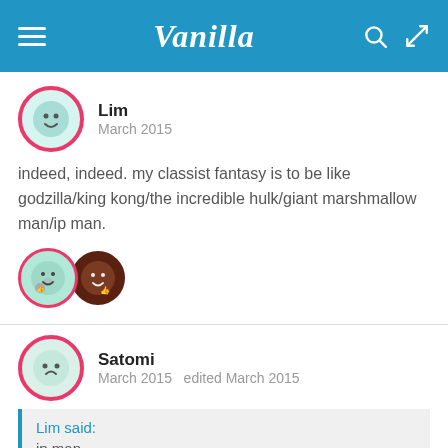Vanilla
Lim
March 2015
indeed, indeed. my classist fantasy is to be like godzilla/king kong/the incredible hulk/giant marshmallow man/ip man.
[Figure (illustration): Two reaction avatars with thumbs up icons]
Satomi
March 2015   edited March 2015
Lim said:
ip man.
yes, yes, so much yes
[Figure (illustration): Bottom avatar icon partially visible]